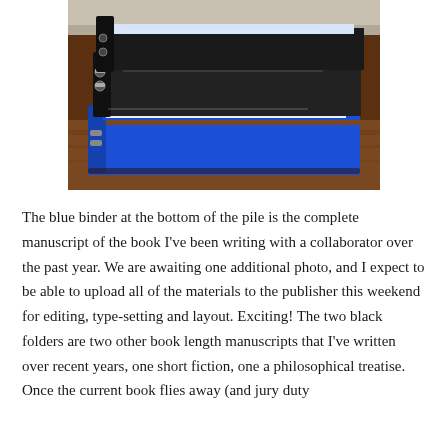[Figure (photo): A stack of three ring binders sitting on a wooden surface. The bottom binder is blue and contains a thick manuscript. On top are two black binders. The binders are packed with white paper pages.]
The blue binder at the bottom of the pile is the complete manuscript of the book I've been writing with a collaborator over the past year. We are awaiting one additional photo, and I expect to be able to upload all of the materials to the publisher this weekend for editing, type-setting and layout. Exciting! The two black folders are two other book length manuscripts that I've written over recent years, one short fiction, one a philosophical treatise. Once the current book flies away (and jury duty